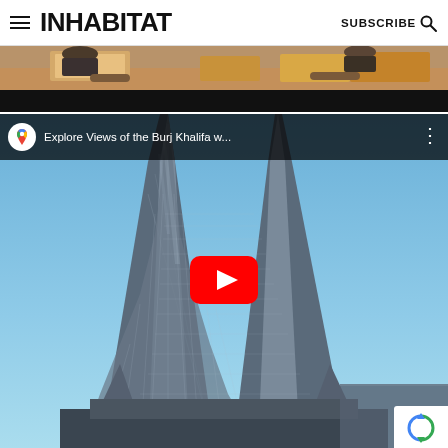INHABITAT — SUBSCRIBE
[Figure (screenshot): Top portion of a video showing people at a desk, partially cropped, with black letterbox bar at bottom]
[Figure (screenshot): YouTube video embed showing Explore Views of the Burj Khalifa w... with Google Maps icon in top bar, YouTube play button overlay, and Burj Khalifa tower photographed from below against blue sky. reCAPTCHA logo visible bottom right.]